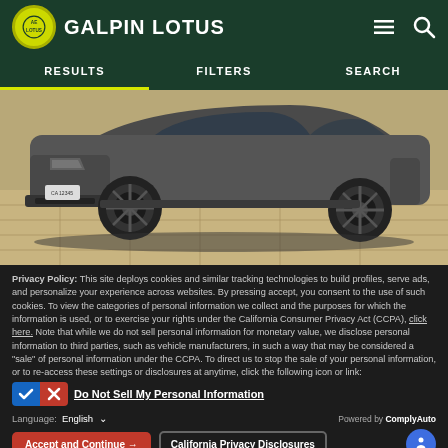GALPIN LOTUS
[Figure (screenshot): Navigation bar with RESULTS, FILTERS, SEARCH tabs, RESULTS tab is active with yellow underline]
[Figure (photo): Close-up photo of a dark gray Lotus sports car front and side, parked on a stone tile surface]
Privacy Policy: This site deploys cookies and similar tracking technologies to build profiles, serve ads, and personalize your experience across websites. By pressing accept, you consent to the use of such cookies. To view the categories of personal information we collect and the purposes for which the information is used, or to exercise your rights under the California Consumer Privacy Act (CCPA), click here. Note that while we do not sell personal information for monetary value, we disclose personal information to third parties, such as vehicle manufacturers, in such a way that may be considered a "sale" of personal information under the CCPA. To direct us to stop the sale of your personal information, or to re-access these settings or disclosures at anytime, click the following icon or link:
Do Not Sell My Personal Information
Language: English
Powered by ComplyAuto
Accept and Continue →
California Privacy Disclosures